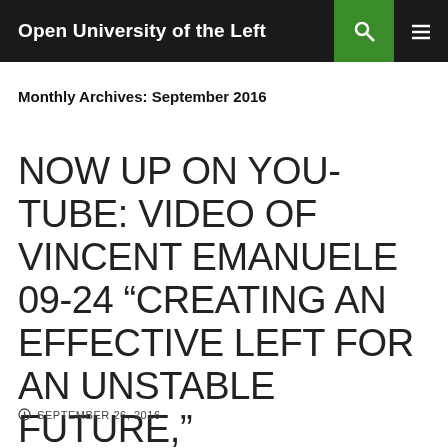Open University of the Left
Monthly Archives: September 2016
NOW UP ON YOU-TUBE: VIDEO OF VINCENT EMANUELE 09-24 “CREATING AN EFFECTIVE LEFT FOR AN UNSTABLE FUTURE,”
SEPTEMBER 26, 2016